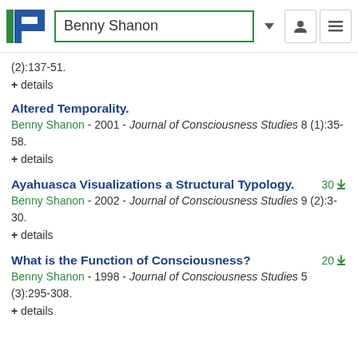Benny Shanon
(2):137-51.
+ details
Altered Temporality.
Benny Shanon - 2001 - Journal of Consciousness Studies 8 (1):35-58.
+ details
Ayahuasca Visualizations a Structural Typology.
30 downloads
Benny Shanon - 2002 - Journal of Consciousness Studies 9 (2):3-30.
+ details
What is the Function of Consciousness?
20 downloads
Benny Shanon - 1998 - Journal of Consciousness Studies 5 (3):295-308.
+ details